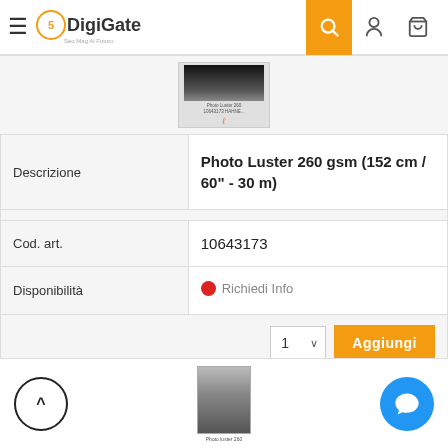[Figure (screenshot): DigiGate website header with logo, hamburger menu, search icon, user icon, and cart icon]
[Figure (photo): Product thumbnail image of Photo Luster 260 gsm paper roll]
| Label | Value |
| --- | --- |
| Descrizione | Photo Luster 260 gsm (152 cm / 60" - 30 m) |
| Cod. art. | 10643173 |
| Disponibilità | ● Richiedi Info |
[Figure (screenshot): Add to cart row with quantity selector showing '1' and orange Aggiungi button]
[Figure (screenshot): Bottom bar with scroll-to-top button, product thumbnail, and blue chat button]